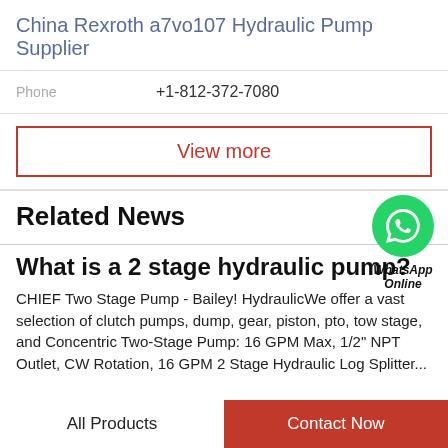China Rexroth a7vo107 Hydraulic Pump Supplier
Phone   +1-812-372-7080
View more
Related News
[Figure (logo): WhatsApp Online green circle logo with phone handset icon, labeled WhatsApp Online]
What is a 2 stage hydraulic pump?
CHIEF Two Stage Pump - Bailey! HydraulicWe offer a vast selection of clutch pumps, dump, gear, piston, pto, tow stage, and Concentric Two-Stage Pump: 16 GPM Max, 1/2" NPT Outlet, CW Rotation,  16 GPM 2 Stage Hydraulic Log Splitter...
All Products
Contact Now